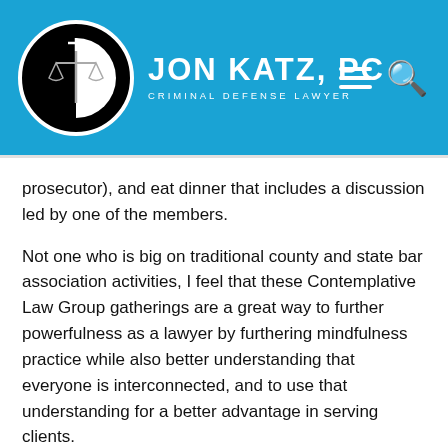JON KATZ, PC – CRIMINAL DEFENSE LAWYER
prosecutor), and eat dinner that includes a discussion led by one of the members.
Not one who is big on traditional county and state bar association activities, I feel that these Contemplative Law Group gatherings are a great way to further powerfulness as a lawyer by furthering mindfulness practice while also better understanding that everyone is interconnected, and to use that understanding for a better advantage in serving clients.
Mindfulness and meditation by now are in the mainstream in society, where they always have belonged. For your convenience, here is a debriefing on the June 2012 meeting of the D.C. Contemplative Law Group, and here is a link to my blog entry on the June 2012 contemplative law retreat at Blue Cliff Monastery.